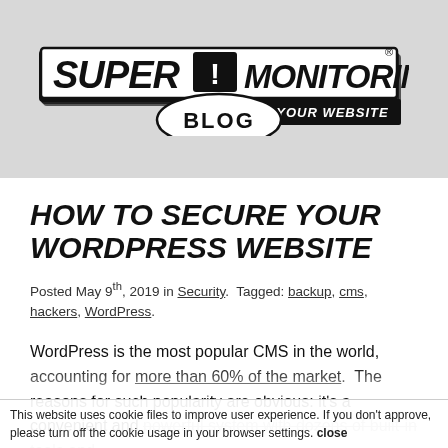[Figure (logo): Super Monitoring logo with text 'FOR YOUR WEBSITE' and a 'BLOG' speech bubble below]
HOW TO SECURE YOUR WORDPRESS WEBSITE
Posted May 9th, 2019 in Security. Tagged: backup, cms, hackers, WordPress.
WordPress is the most popular CMS in the world, accounting for more than 60% of the market. The reasons for such popularity are obvious: it's a convenient and powerful system with dozens of built-in tools and
This website uses cookie files to improve user experience. If you don't approve, please turn off the cookie usage in your browser settings. close